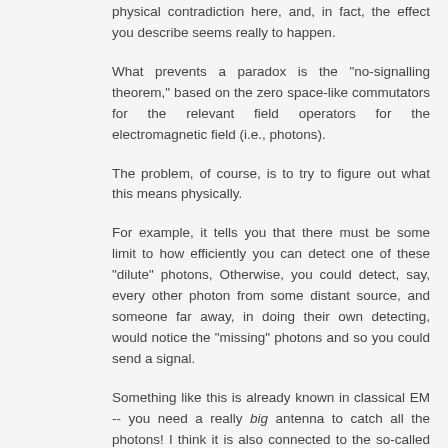physical contradiction here, and, in fact, the effect you describe seems really to happen.
What prevents a paradox is the "no-signalling theorem," based on the zero space-like commutators for the relevant field operators for the electromagnetic field (i.e., photons).
The problem, of course, is to try to figure out what this means physically.
For example, it tells you that there must be some limit to how efficiently you can detect one of these "dilute" photons, Otherwise, you could detect, say, every other photon from some distant source, and someone far away, in doing their own detecting, would notice the "missing" photons and so you could send a signal.
Something like this is already known in classical EM -- you need a really big antenna to catch all the photons! I think it is also connected to the so-called "optical theorem."